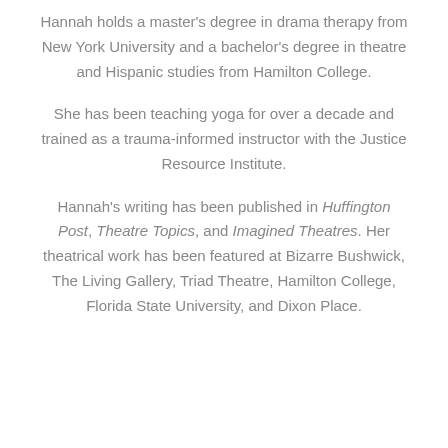Hannah holds a master's degree in drama therapy from New York University and a bachelor's degree in theatre and Hispanic studies from Hamilton College.
She has been teaching yoga for over a decade and trained as a trauma-informed instructor with the Justice Resource Institute.
Hannah's writing has been published in Huffington Post, Theatre Topics, and Imagined Theatres. Her theatrical work has been featured at Bizarre Bushwick, The Living Gallery, Triad Theatre, Hamilton College, Florida State University, and Dixon Place.